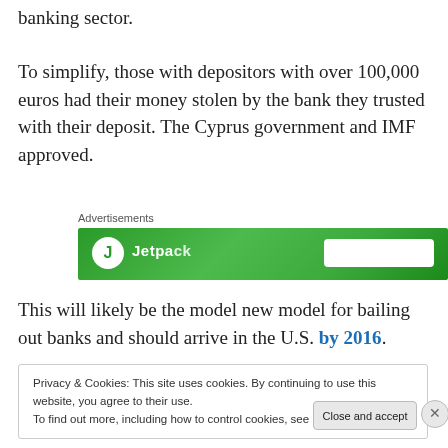banking sector.
To simplify, those with depositors with over 100,000 euros had their money stolen by the bank they trusted with their deposit. The Cyprus government and IMF approved.
[Figure (other): Advertisements banner showing a green Jetpack advertisement block]
This will likely be the model new model for bailing out banks and should arrive in the U.S. by 2016.
Privacy & Cookies: This site uses cookies. By continuing to use this website, you agree to their use.
To find out more, including how to control cookies, see here: Cookie Policy